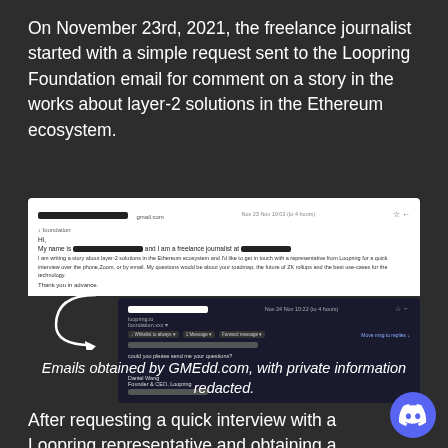On November 23rd, 2021, the freelance journalist started with a simple request sent to the Loopring Foundation email for comment on a story in the works about layer-2 solutions in the Ethereum ecosystem.
[Figure (screenshot): Two email screenshots: top email shows a journalist's request to the Loopring Foundation asking for an interview about layer-2 solutions in the Ethereum ecosystem, with sender name and personal info redacted. Bottom email shows the Loopring Foundation's reply with redacted info, signed by someone with title Founder &CEO, Loopring.]
Emails obtained by GMEdd.com, with private information redacted.
After requesting a quick interview with a Loopring representative and obtaining a response from